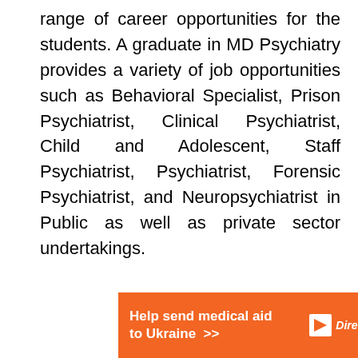range of career opportunities for the students. A graduate in MD Psychiatry provides a variety of job opportunities such as Behavioral Specialist, Prison Psychiatrist, Clinical Psychiatrist, Child and Adolescent, Staff Psychiatrist, Psychiatrist, Forensic Psychiatrist, and Neuropsychiatrist in Public as well as private sector undertakings.
[Figure (infographic): Orange advertisement banner reading 'Help send medical aid to Ukraine >>' with Direct Relief logo and a green chat bubble icon on the right.]